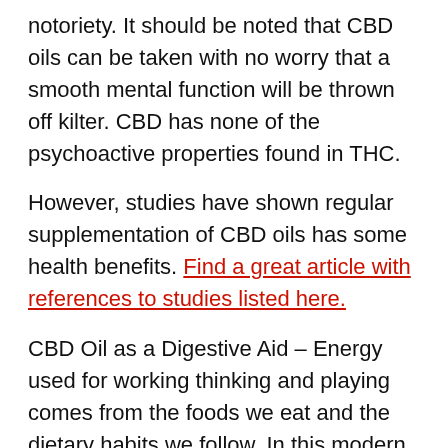notoriety. It should be noted that CBD oils can be taken with no worry that a smooth mental function will be thrown off kilter. CBD has none of the psychoactive properties found in THC.
However, studies have shown regular supplementation of CBD oils has some health benefits. Find a great article with references to studies listed here.
CBD Oil as a Digestive Aid – Energy used for working thinking and playing comes from the foods we eat and the dietary habits we follow. In this modern era, convenience is the flavor of the day and this can lead to major health issues as proper nutrition is sidelined for reasons of convenience, lack of appetite and other conditions. CBD oils can work to restore balance to the diet and even provoke an appetite where there was none.
CBD as an Analgesic – CBD oils have been found